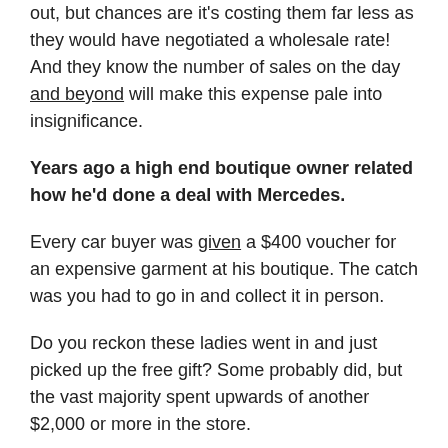out, but chances are it's costing them far less as they would have negotiated a wholesale rate! And they know the number of sales on the day and beyond will make this expense pale into insignificance.
Years ago a high end boutique owner related how he'd done a deal with Mercedes.
Every car buyer was given a $400 voucher for an expensive garment at his boutique. The catch was you had to go in and collect it in person.
Do you reckon these ladies went in and just picked up the free gift? Some probably did, but the vast majority spent upwards of another $2,000 or more in the store.